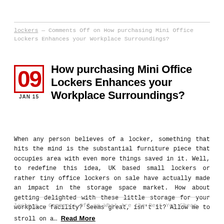lockers — Comments Off on How purchasing Mini Office Lockers Enhances your Workplace Surroundings?
How purchasing Mini Office Lockers Enhances your Workplace Surroundings?
When any person believes of a locker, something that hits the mind is the substantial furniture piece that occupies area with even more things saved in it. Well, to redefine this idea, UK based small lockers or rather tiny office lockers on sale have actually made an impact in the storage space market. How about getting delighted with these little storage for your workplace facility? Seems great, isn't it? Allow me to stroll on a… Read More
lockers — Comments Off on What Are the Best Yet Cheap